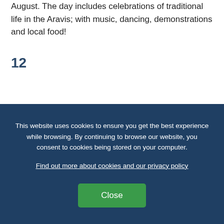August. The day includes celebrations of traditional life in the Aravis; with music, dancing, demonstrations and local food!
12
Make the most of the sights
There's so much to see in the French Alps in summer! From
This website uses cookies to ensure you get the best experience while browsing. By continuing to browse our website, you consent to cookies being stored on your computer.
Find out more about cookies and our privacy policy
Close